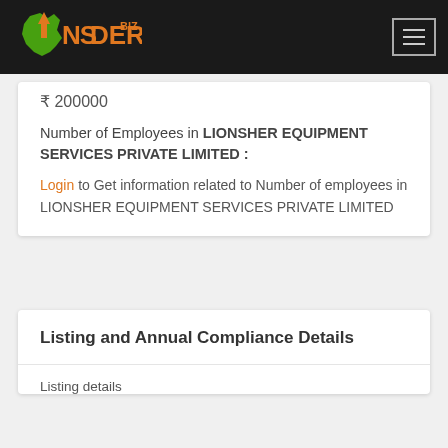InsiderBiz
₹ 200000
Number of Employees in LIONSHER EQUIPMENT SERVICES PRIVATE LIMITED :
Login to Get information related to Number of employees in LIONSHER EQUIPMENT SERVICES PRIVATE LIMITED
Listing and Annual Compliance Details
Listing details